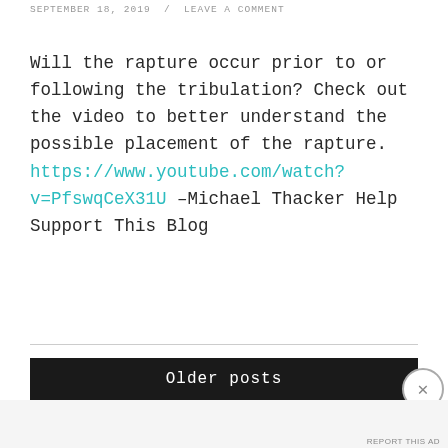SEPTEMBER 18, 2019  /  LEAVE A COMMENT
Will the rapture occur prior to or following the tribulation? Check out the video to better understand the possible placement of the rapture. https://www.youtube.com/watch?v=PfswqCeX31U –Michael Thacker Help Support This Blog
[Figure (other): Older posts navigation bar — dark background with white monospace text reading 'Older posts']
[Figure (other): Advertisement banner for Pocket Casts app — 'The go-to app for podcast lovers.' with Pocket Casts logo]